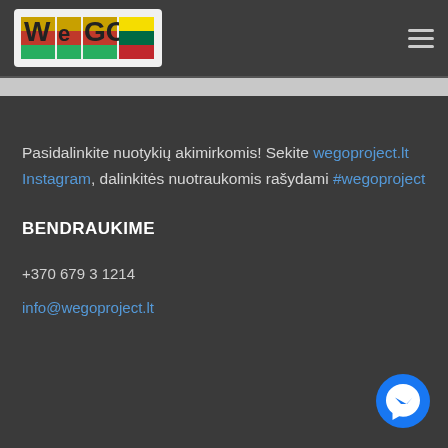WeGo project logo and navigation
Pasidalinkite nuotykių akimirkomis! Sekite wegoproject.lt Instagram, dalinkitės nuotraukomis rašydami #wegoproject
BENDRAUKIME
+370 679 3 1214
info@wegoproject.lt
[Figure (logo): Facebook Messenger button icon]